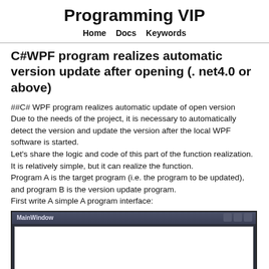Programming VIP
Home   Docs   Keywords
C#WPF program realizes automatic version update after opening (. net4.0 or above)
##C# WPF program realizes automatic update of open version
Due to the needs of the project, it is necessary to automatically detect the version and update the version after the local WPF software is started.
Let's share the logic and code of this part of the function realization. It is relatively simple, but it can realize the function.
Program A is the target program (i.e. the program to be updated), and program B is the version update program.
First write A simple A program interface:
[Figure (screenshot): A WPF MainWindow application window screenshot showing a white content area with dark title bar.]